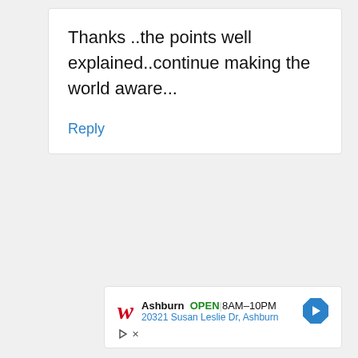Thanks ..the points well explained..continue making the world aware...
Reply
[Figure (infographic): Walgreens advertisement showing store location in Ashburn, OPEN 8AM-10PM, address 20321 Susan Leslie Dr, Ashburn, with Walgreens W logo and navigation arrow icon]